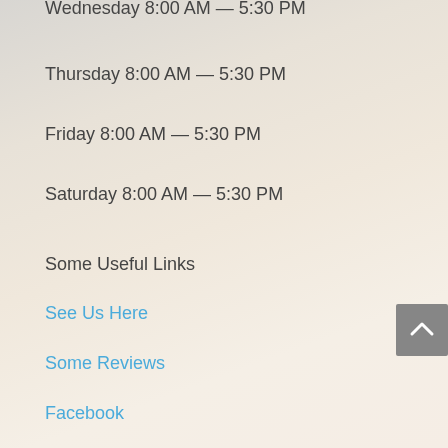Wednesday 8:00 AM — 5:30 PM
Thursday 8:00 AM — 5:30 PM
Friday 8:00 AM — 5:30 PM
Saturday 8:00 AM — 5:30 PM
Some Useful Links
See Us Here
Some Reviews
Facebook
Twitter
Youtube
Yelp